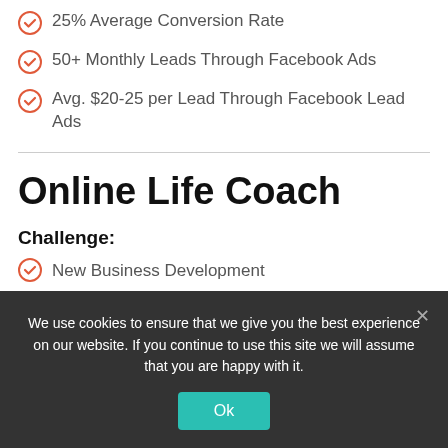25% Average Conversion Rate
50+ Monthly Leads Through Facebook Ads
Avg. $20-25 per Lead Through Facebook Lead Ads
Online Life Coach
Challenge:
New Business Development
We use cookies to ensure that we give you the best experience on our website. If you continue to use this site we will assume that you are happy with it.